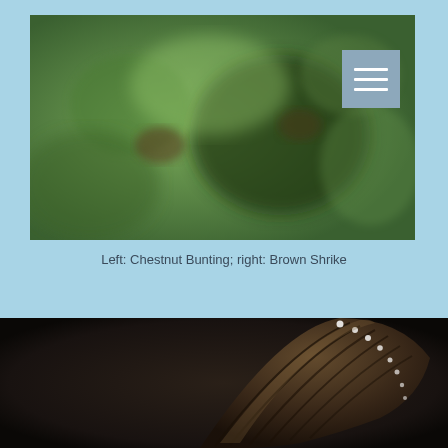[Figure (photo): Blurred photograph of birds in green foliage background — left: Chestnut Bunting; right: Brown Shrike. A hamburger menu icon button is overlaid in the top right corner.]
Left: Chestnut Bunting; right: Brown Shrike
[Figure (photo): Close-up photograph of a bird wing (dark brown/black feathers with white spots along the edge) against a very dark background.]